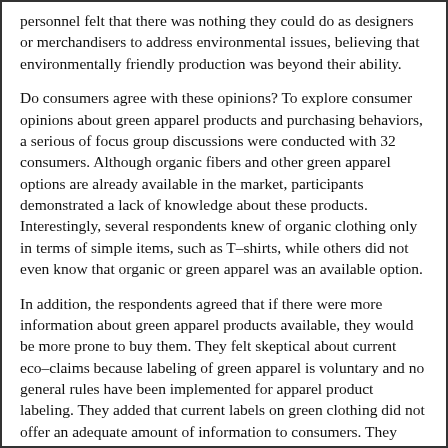personnel felt that there was nothing they could do as designers or merchandisers to address environmental issues, believing that environmentally friendly production was beyond their ability.
Do consumers agree with these opinions? To explore consumer opinions about green apparel products and purchasing behaviors, a serious of focus group discussions were conducted with 32 consumers. Although organic fibers and other green apparel options are already available in the market, participants demonstrated a lack of knowledge about these products. Interestingly, several respondents knew of organic clothing only in terms of simple items, such as T–shirts, while others did not even know that organic or green apparel was an available option.
In addition, the respondents agreed that if there were more information about green apparel products available, they would be more prone to buy them. They felt skeptical about current eco–claims because labeling of green apparel is voluntary and no general rules have been implemented for apparel product labeling. They added that current labels on green clothing did not offer an adequate amount of information to consumers. They were unsure of exactly what "environmentally friendly" meant and how the products they had seen were environmentally friendly. Additionally, most of the participants agreed that a well–established eco–label for apparel products would increase consumers' knowledge of environmental impacts from apparel